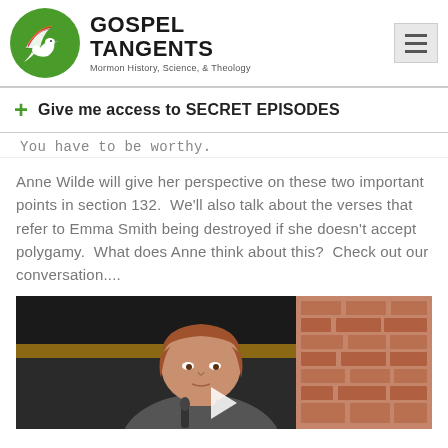[Figure (logo): Gospel Tangents logo: green circle with a white dove/bird, text 'GOSPEL TANGENTS' in bold black, subtitle 'Mormon History, Science, & Theology']
+ Give me access to SECRET EPISODES
You have to be worthy.
Anne Wilde will give her perspective on these two important points in section 132. We'll also talk about the verses that refer to Emma Smith being destroyed if she doesn't accept polygamy. What does Anne think about this? Check out our conversation....
[Figure (photo): Video thumbnail showing an elderly woman with short auburn/brown hair speaking in front of a brick wall and dark cabinet. A play button triangle is visible at the bottom center.]